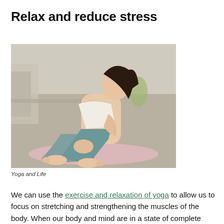Relax and reduce stress
[Figure (photo): Woman in teal yoga outfit sitting in a yoga pose on a pink mat outdoors on stone pavement, with stone architecture in the background.]
Yoga and Life
We can use the exercise and relaxation of yoga to allow us to focus on stretching and strengthening the muscles of the body. When our body and mind are in a state of complete relaxation and focus on stretching the limbs, we can release negative